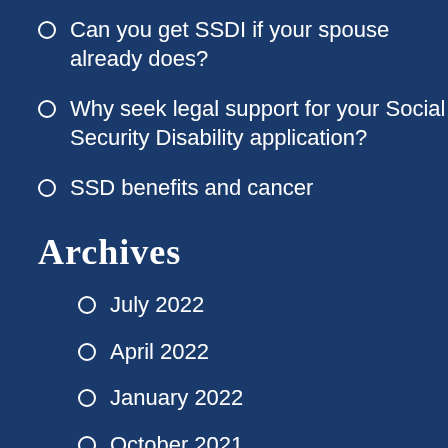Can you get SSDI if your spouse already does?
Why seek legal support for your Social Security Disability application?
SSD benefits and cancer
Archives
July 2022
April 2022
January 2022
October 2021
July 2021